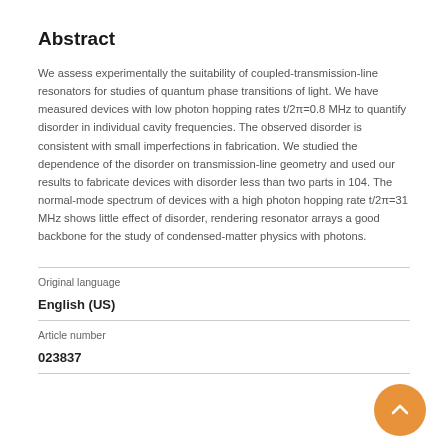Abstract
We assess experimentally the suitability of coupled-transmission-line resonators for studies of quantum phase transitions of light. We have measured devices with low photon hopping rates t/2π=0.8 MHz to quantify disorder in individual cavity frequencies. The observed disorder is consistent with small imperfections in fabrication. We studied the dependence of the disorder on transmission-line geometry and used our results to fabricate devices with disorder less than two parts in 104. The normal-mode spectrum of devices with a high photon hopping rate t/2π=31 MHz shows little effect of disorder, rendering resonator arrays a good backbone for the study of condensed-matter physics with photons.
Original language
English (US)
Article number
023837